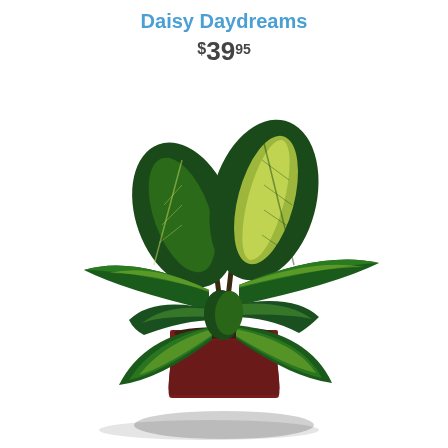Daisy Daydreams
$39.95
[Figure (photo): A lush Dieffenbachia (dumb cane) houseplant with large dark green leaves featuring creamy yellow-green variegation patterns, planted in a dark red/maroon square ceramic pot, photographed against a white background with a soft shadow beneath the pot.]